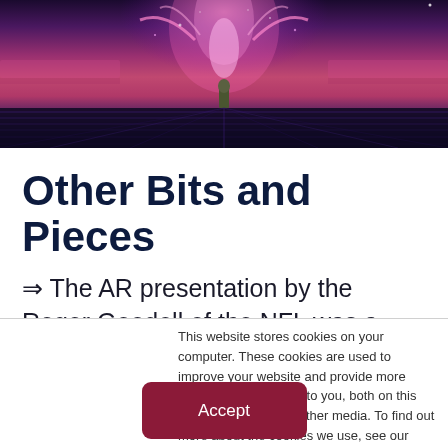[Figure (illustration): A stylized digital/AR illustration showing a glowing pink/purple cosmic tree or entity above a person standing on a grid surface with a purple and pink sky background]
Other Bits and Pieces
⇒ The AR presentation by the Roger Goodell of the NFL was a high-profile statement about having the future of home and mobile viewing be closer to the
This website stores cookies on your computer. These cookies are used to improve your website and provide more personalized services to you, both on this website and through other media. To find out more about the cookies we use, see our Privacy Policy.
Accept